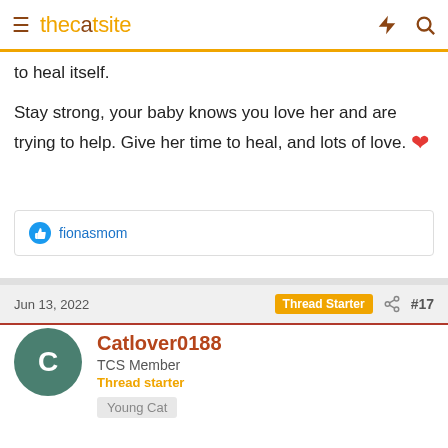thecatsite
to heal itself.
Stay strong, your baby knows you love her and are trying to help. Give her time to heal, and lots of love. ❤️
fionasmom
Jun 13, 2022
Thread Starter  #17
Catlover0188
TCS Member
Thread starter
Young Cat